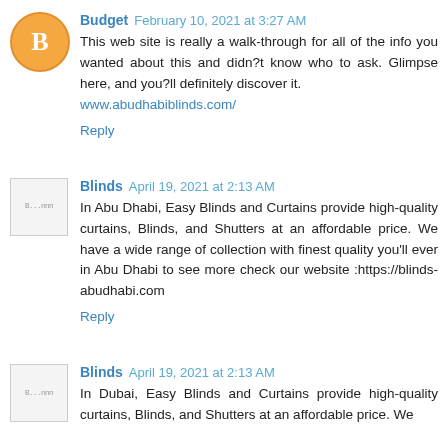Budget  February 10, 2021 at 3:27 AM
This web site is really a walk-through for all of the info you wanted about this and didn?t know who to ask. Glimpse here, and you?ll definitely discover it.
www.abudhabiblinds.com/
Reply
Blinds  April 19, 2021 at 2:13 AM
In Abu Dhabi, Easy Blinds and Curtains provide high-quality curtains, Blinds, and Shutters at an affordable price. We have a wide range of collection with finest quality you'll ever in Abu Dhabi to see more check our website :https://blinds-abudhabi.com
Reply
Blinds  April 19, 2021 at 2:13 AM
In Dubai, Easy Blinds and Curtains provide high-quality curtains, Blinds, and Shutters at an affordable price. We